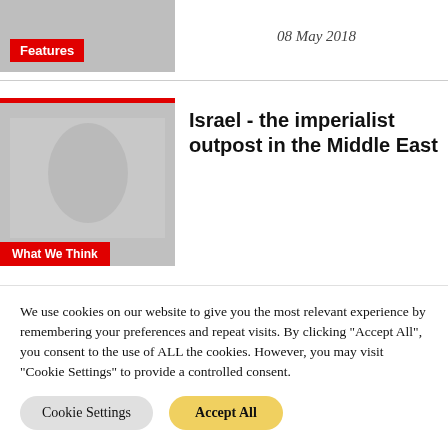[Figure (photo): Grayscale photo with a red 'Features' badge overlay at bottom left]
08 May 2018
[Figure (photo): Grayscale photo of a person with a red top bar, and a red 'What We Think' badge at the bottom]
Israel - the imperialist outpost in the Middle East
We use cookies on our website to give you the most relevant experience by remembering your preferences and repeat visits. By clicking "Accept All", you consent to the use of ALL the cookies. However, you may visit "Cookie Settings" to provide a controlled consent.